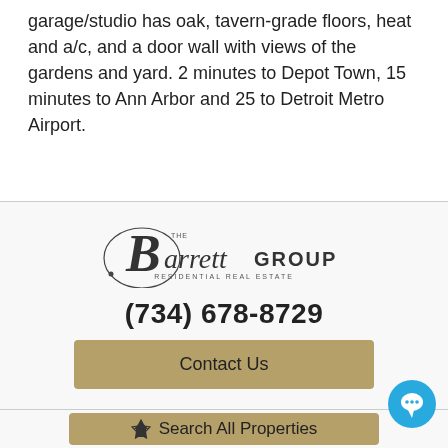garage/studio has oak, tavern-grade floors, heat and a/c, and a door wall with views of the gardens and yard. 2 minutes to Depot Town, 15 minutes to Ann Arbor and 25 to Detroit Metro Airport.
[Figure (logo): Barrett Group Residential Real Estate logo — stylized cursive 'Barrett' with 'GROUP' in caps and 'RESIDENTIAL REAL ESTATE' below]
(734) 678-8729
Contact Us
Search All Properties